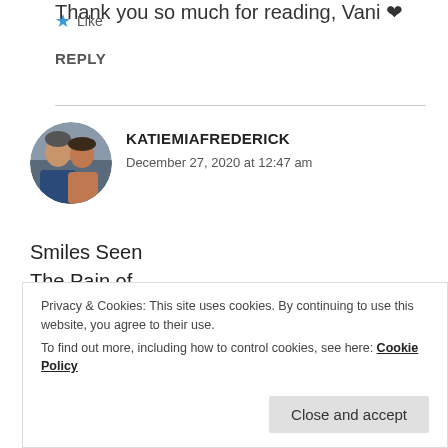Thank you so much for reading, Vani ❤
★ Like
REPLY
[Figure (photo): Circular avatar photo of a couple, a man and a woman smiling together]
KATIEMIAFREDERICK
December 27, 2020 at 12:47 am
Smiles Seen
The Pain of
Privacy & Cookies: This site uses cookies. By continuing to use this website, you agree to their use.
To find out more, including how to control cookies, see here: Cookie Policy
Close and accept